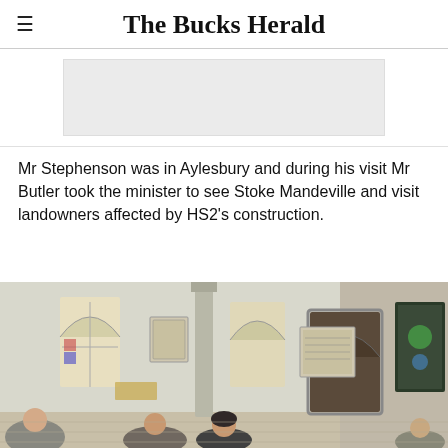The Bucks Herald
[Figure (other): Advertisement placeholder - light grey rectangle]
Mr Stephenson was in Aylesbury and during his visit Mr Butler took the minister to see Stoke Mandeville and visit landowners affected by HS2's construction.
[Figure (photo): Interior of a church showing arched windows, stone columns, plaques on walls, and people seated inside Stoke Mandeville church.]